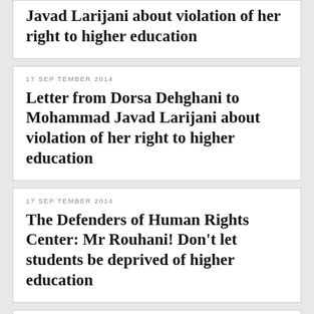Javad Larijani about violation of her right to higher education
17 SEPTEMBER 2014
Letter from Dorsa Dehghani to Mohammad Javad Larijani about violation of her right to higher education
17 SEPTEMBER 2014
The Defenders of Human Rights Center: Mr Rouhani! Don’t let students be deprived of higher education
15 SEPTEMBER 2014
Letter from Vargha Derakhshan to the advisor of Ahvaz mayor to acquire a plot of land for cemetery